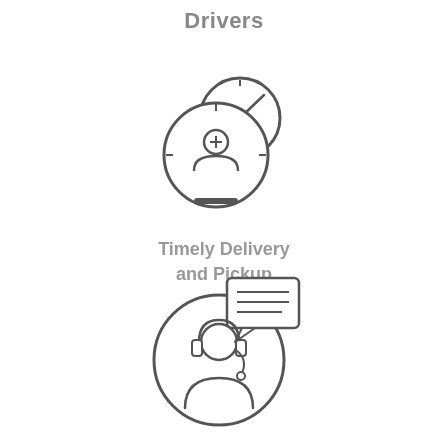Drivers
[Figure (illustration): Two overlapping gauge/speedometer icons with a person silhouette and plus symbol, outline style in dark gray]
Timely Delivery and Pickup
[Figure (illustration): Customer service agent with headset inside a circle, with a speech bubble containing text lines, outline style in dark gray]
Quality Customer Service